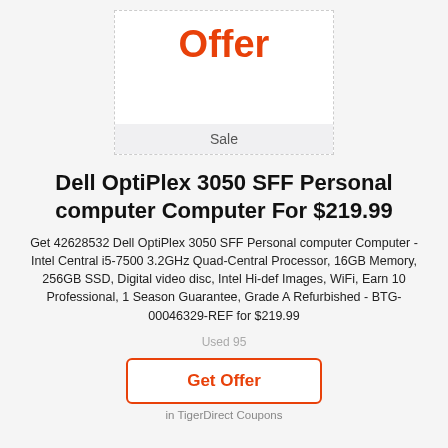Offer
Sale
Dell OptiPlex 3050 SFF Personal computer Computer For $219.99
Get 42628532 Dell OptiPlex 3050 SFF Personal computer Computer - Intel Central i5-7500 3.2GHz Quad-Central Processor, 16GB Memory, 256GB SSD, Digital video disc, Intel Hi-def Images, WiFi, Earn 10 Professional, 1 Season Guarantee, Grade A Refurbished - BTG-00046329-REF for $219.99
Used 95
Get Offer
in TigerDirect Coupons